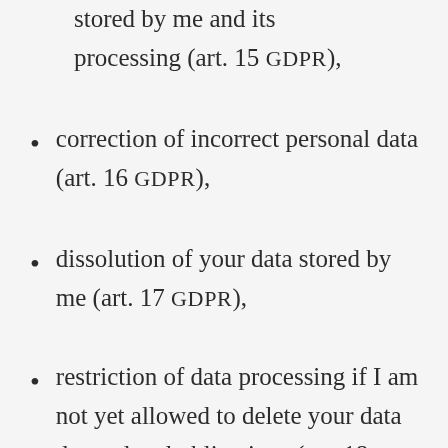stored by me and its processing (art. 15 GDPR),
correction of incorrect personal data (art. 16 GDPR),
dissolution of your data stored by me (art. 17 GDPR),
restriction of data processing if I am not yet allowed to delete your data due to legal obligations (art. 18 GDPR),
objection to the processing of your data (art. 21 GDPR) and
data portability, if you have consented to the data processing